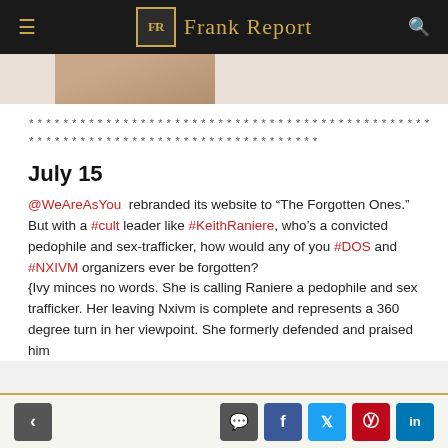Frank Report
[Figure (photo): Partial view of a person photograph thumbnail at top of article]
***********************************************
**********************************
July 15
@WeAreAsYou rebranded its website to "The Forgotten Ones." But with a #cult leader like #KeithRaniere, who's a convicted pedophile and sex-trafficker, how would any of you #DOS and #NXIVM organizers ever be forgotten?
{Ivy minces no words. She is calling Raniere a pedophile and sex trafficker. Her leaving Nxivm is complete and represents a 360 degree turn in her viewpoint. She formerly defended and praised him
< [back] [comment] [facebook] [twitter] [pinterest] [linkedin]